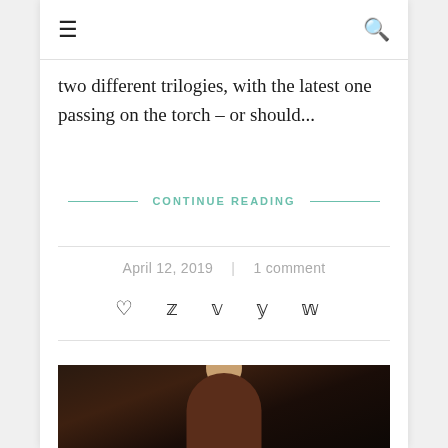☰  🔍
two different trilogies, with the latest one passing on the torch – or should...
CONTINUE READING
April 12, 2019  |  1 comment
[Figure (photo): Dark moody photo of a man in a brown jacket, set in a dimly lit scene]
Social sharing icons: heart, facebook, twitter, google+, pinterest